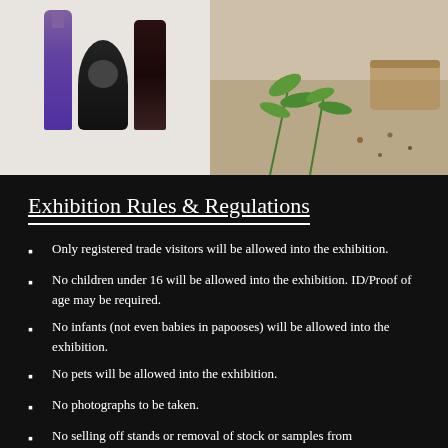[Figure (photo): Product photo showing bottles (purple label tall bottle, round dark bottle, dark bottle) on light background on the left, and herbs/greens on a textured surface on the right]
Exhibition Rules & Regulations
Only registered trade visitors will be allowed into the exhibition.
No children under 16 will be allowed into the exhibition. ID/Proof of age may be required.
No infants (not even babies in papooses) will be allowed into the exhibition.
No pets will be allowed into the exhibition.
No photographs to be taken.
No selling off stands or removal of stock or samples from